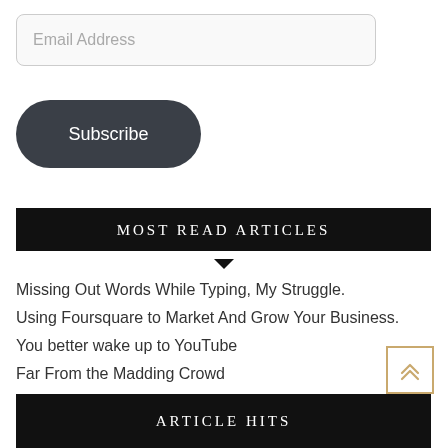Email Address
[Figure (other): Subscribe button, dark rounded pill shape with white text]
MOST READ ARTICLES
Missing Out Words While Typing, My Struggle.
Using Foursquare to Market And Grow Your Business.
You better wake up to YouTube
Far From the Madding Crowd
[Figure (other): Back to top button with double chevron up arrow, gold/tan border]
ARTICLE HITS